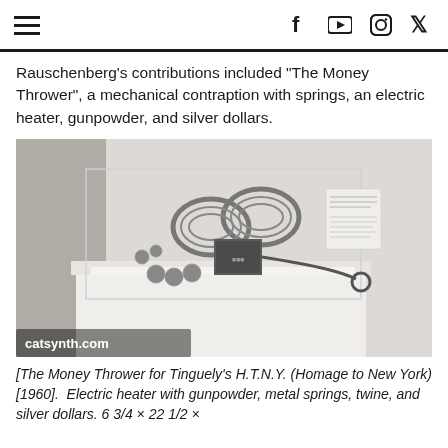catsynth.com — social media navigation header
Rauschenberg's contributions included “The Money Thrower”, a mechanical contraption with springs, an electric heater, gunpowder, and silver dollars.
[Figure (photo): Museum display case containing a mechanical contraption with metal springs, a small box/heater, twine/cable, and silver dollars on a white pedestal. A label card is visible in the upper right of the case. Watermark reads 'catsynth.com'.]
[The Money Thrower for Tinguely’s H.T.N.Y. (Homage to New York) [1960].  Electric heater with gunpowder, metal springs, twine, and silver dollars. 6 3/4 × 22 1/2 ×